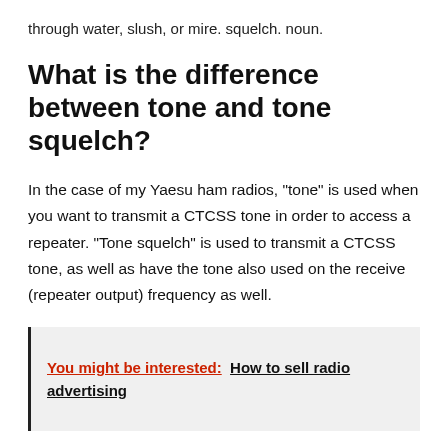through water, slush, or mire. squelch. noun.
What is the difference between tone and tone squelch?
In the case of my Yaesu ham radios, "tone" is used when you want to transmit a CTCSS tone in order to access a repeater. "Tone squelch" is used to transmit a CTCSS tone, as well as have the tone also used on the receive (repeater output) frequency as well.
You might be interested:  How to sell radio advertising